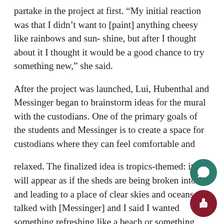partake in the project at first. “My initial reaction was that I didn’t want to [paint] anything cheesy like rainbows and sun- shine, but after I thought about it I thought it would be a good chance to try something new,” she said.
After the project was launched, Lui, Hubenthal and Messinger began to brainstorm ideas for the mural with the custodians. One of the primary goals of the students and Messinger is to create a space for custodians where they can feel comfortable and
relaxed. The finalized idea is tropics-themed: it will appear as if the sheds are being broken into and leading to a place of clear skies and oceans. “I talked with [Messinger] and I said I wanted something refreshing like a beach or something green,” Hernandez said. “[The students and I] talked about it, but, I mean, other than that it was almost the students.”